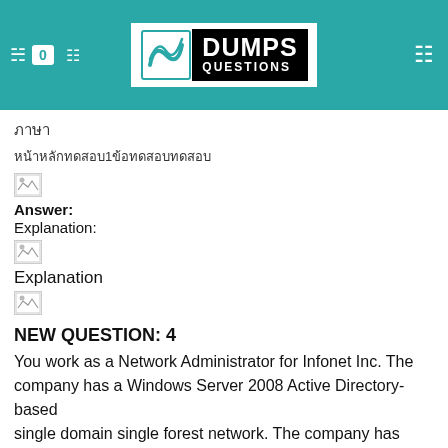[Figure (logo): DumpsQuestions logo with teal header background, showing badge count 0 and navigation icons]
ภาษา
หน้าหลักทดสอบ1ข้อทดสอบทดสอบ
[Figure (photo): Broken image placeholder]
Answer:
Explanation:
[Figure (photo): Broken image placeholder]
Explanation
[Figure (photo): Broken image placeholder]
NEW QUESTION: 4
You work as a Network Administrator for Infonet Inc. The company has a Windows Server 2008 Active Directory-based single domain single forest network. The company has three Windows 2008 file servers, 150 Windows XP Professional, thirty UNIX-based client computers. The